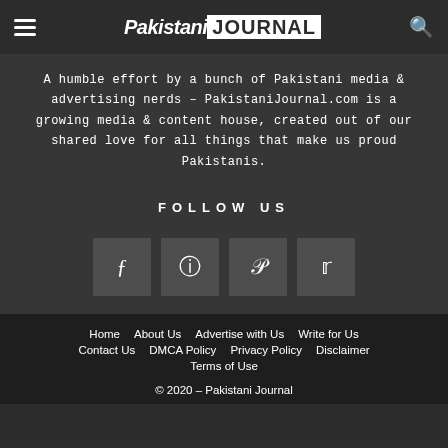Pakistani Journal
A humble effort by a bunch of Pakistani media & advertising nerds – PakistaniJournal.com is a growing media & content house, created out of our shared love for all things that make us proud Pakistanis.
FOLLOW US
[Figure (other): Social media icons: Facebook, Instagram, Pinterest, Twitter]
Home  About Us  Advertise with Us  Write for Us  Contact Us  DMCA Policy  Privacy Policy  Disclaimer  Terms of Use  © 2020 – Pakistani Journal